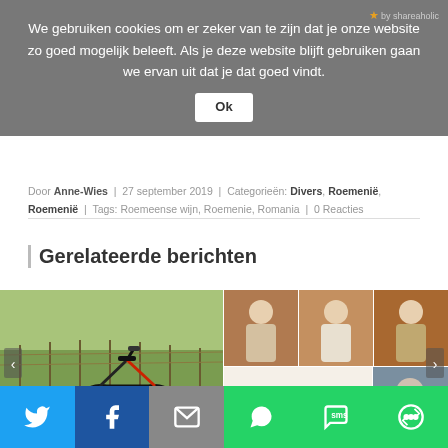We gebruiken cookies om er zeker van te zijn dat je onze website zo goed mogelijk beleeft. Als je deze website blijft gebruiken gaan we ervan uit dat je dat goed vindt.
Ok
Door Anne-Wies | 27 september 2019 | Categorieën: Divers, Roemenië, Roemenië | Tags: Roemeense wijn, Roemenie, Romania | 0 Reacties
Gerelateerde berichten
[Figure (photo): Electric bicycle parked in a vineyard on a gravel path, black with red accents]
[Figure (photo): Collage of restaurant staff in aprons and the restaurant logo 'aam aurant']